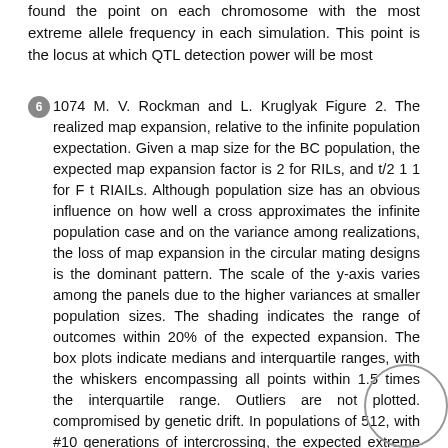found the point on each chromosome with the most extreme allele frequency in each simulation. This point is the locus at which QTL detection power will be most
6  1074 M. V. Rockman and L. Kruglyak Figure 2. The realized map expansion, relative to the infinite population expectation. Given a map size for the BC population, the expected map expansion factor is 2 for RILs, and t/2 1 1 for F t RIAILs. Although population size has an obvious influence on how well a cross approximates the infinite population case and on the variance among realizations, the loss of map expansion in the circular mating designs is the dominant pattern. The scale of the y-axis varies among the panels due to the higher variances at smaller population sizes. The shading indicates the range of outcomes within 20% of the expected expansion. The box plots indicate medians and interquartile ranges, with the whiskers encompassing all points within 1.5 times the interquartile range. Outliers are not plotted. compromised by genetic drift. In populations of 512, with #10 generations of intercrossing, the expected extreme departure for all designs with equal parental contributions